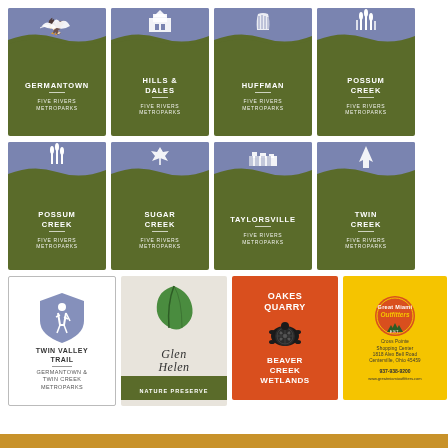[Figure (logo): Germantown Five Rivers Metroparks bookmark-style card with blue top showing eagle and green bottom]
[Figure (logo): Hills & Dales Five Rivers Metroparks bookmark card]
[Figure (logo): Huffman Five Rivers Metroparks bookmark card]
[Figure (logo): Possum Creek Five Rivers Metroparks bookmark card (row 1)]
[Figure (logo): Possum Creek Five Rivers Metroparks bookmark card (row 2)]
[Figure (logo): Sugar Creek Five Rivers Metroparks bookmark card]
[Figure (logo): Taylorsville Five Rivers Metroparks bookmark card]
[Figure (logo): Twin Creek Five Rivers Metroparks bookmark card]
[Figure (logo): Twin Valley Trail - Germantown & Twin Creek Metroparks logo card]
[Figure (logo): Glen Helen Nature Preserve logo card]
[Figure (logo): Oakes Quarry Beaver Creek Wetlands logo on red background]
[Figure (logo): Great Miami Outfitters advertisement on yellow background]